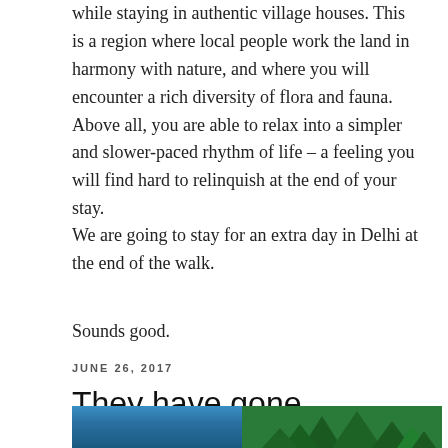while staying in authentic village houses. This is a region where local people work the land in harmony with nature, and where you will encounter a rich diversity of flora and fauna. Above all, you are able to relax into a simpler and slower-paced rhythm of life – a feeling you will find hard to relinquish at the end of your stay.
We are going to stay for an extra day in Delhi at the end of the walk.
Sounds good.
JUNE 26, 2017
They have gone.
[Figure (photo): Bottom strip of a photograph showing blue sky and trees at the top edge, partially visible at the bottom of the page.]